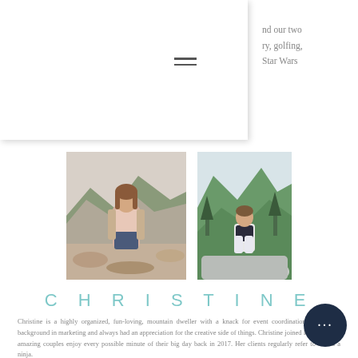nd our two
ry, golfing,
Star Wars
[Figure (photo): Photo of Christine standing outdoors near a rocky riverbed, wearing a pink top and dark jeans, with mountains in background]
[Figure (photo): Photo of Christine sitting on a rock outdoors with green mountain hills behind her, wearing dark top and white pants]
CHRISTINE
Christine is a highly organized, fun-loving, mountain dweller with a knack for event coordination. She has a background in marketing and always had an appreciation for the creative side of things. Christine joined LWco to help amazing couples enjoy every possible minute of their big day back in 2017. Her clients regularly refer to her as a ninja.
Christine loves to spend free time camping with friends, enjoying a night out in the city, or soaking up that summer time sunshine.

xx